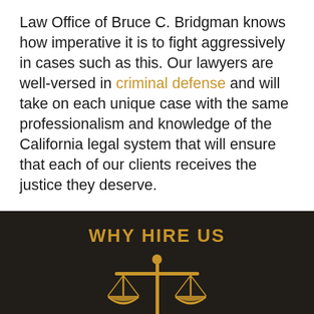Law Office of Bruce C. Bridgman knows how imperative it is to fight aggressively in cases such as this. Our lawyers are well-versed in criminal defense and will take on each unique case with the same professionalism and knowledge of the California legal system that will ensure that each of our clients receives the justice they deserve.
WHY HIRE US
[Figure (illustration): Golden scales of justice icon on dark background]
FIND OUT MORE